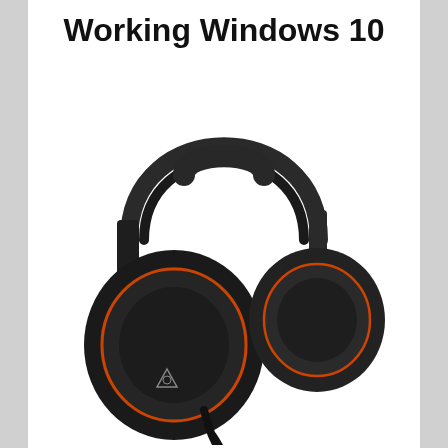Working Windows 10
[Figure (photo): A black gaming headset (Turtle Beach Elite Pro) with orange accent rings on the ear cups and headband adjustment sliders, featuring large over-ear cushioned cups, a rigid headband, and a flexible boom microphone. The headset is shown at a slight angle against a white background.]